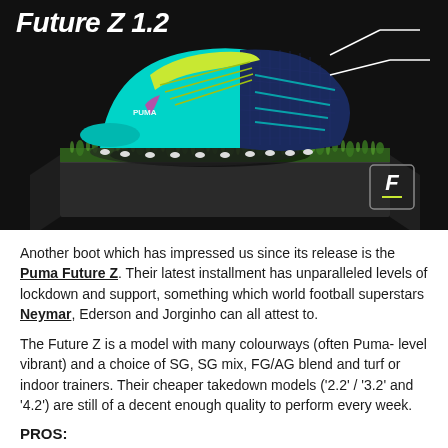Future Z 1.2
[Figure (photo): Puma Future Z 1.2 football boot in teal/navy/lime colorway, displayed floating above a grass-topped dark stone block on a dark background, with connector lines pointing to the boot ankle area and a Puma Future Z badge in the bottom right corner]
Another boot which has impressed us since its release is the Puma Future Z. Their latest installment has unparalleled levels of lockdown and support, something which world football superstars Neymar, Ederson and Jorginho can all attest to.
The Future Z is a model with many colourways (often Puma-level vibrant) and a choice of SG, SG mix, FG/AG blend and turf or indoor trainers. Their cheaper takedown models ('2.2' / '3.2' and '4.2') are still of a decent enough quality to perform every week.
PROS:
+ Puma's patented FUZIONFIT compression band tech has been